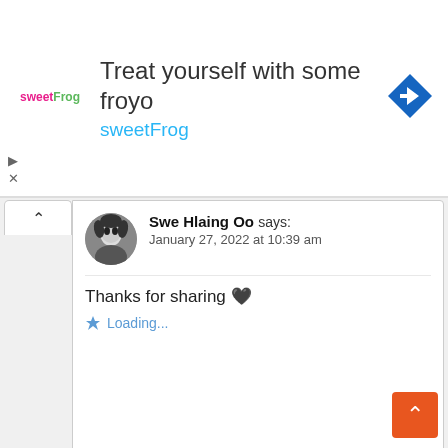[Figure (other): SweetFrog frozen yogurt advertisement banner with logo, headline 'Treat yourself with some froyo', brand name 'sweetFrog', and a blue diamond navigation arrow icon]
[Figure (other): Collapse/accordion toggle button with upward chevron]
Swe Hlaing Oo says:
January 27, 2022 at 10:39 am
Thanks for sharing 🖤
Loading...
[Figure (photo): House of the Dragon cast promotional photo with advertisement: ''House Of The Dragon' Showrunners - They Are The Only Survivors'. Sponsored: Shadow and Act]
Ag khnt kyaw says:
January 27, 2022 at 12:45 pm